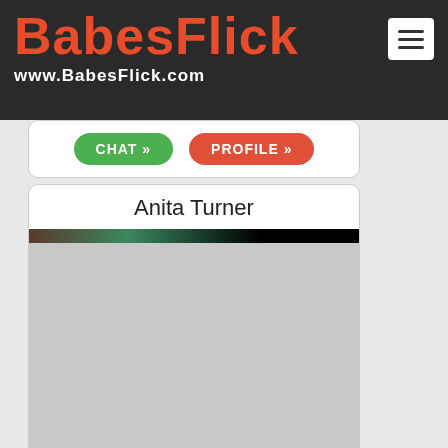BABESFLICK www.BabesFlick.com
[Figure (screenshot): Navigation buttons: green CHAT button and orange-red PROFILE button]
Anita Turner
[Figure (photo): Profile photo of Anita Turner, partially visible showing dark and teal colors]
User. AnitaTurner
Name. Anita Turner